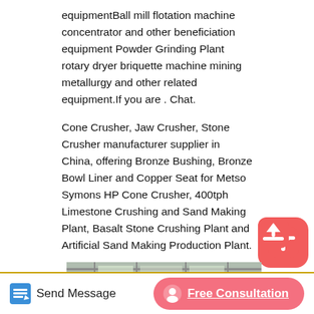equipmentBall mill flotation machine concentrator and other beneficiation equipment Powder Grinding Plant rotary dryer briquette machine mining metallurgy and other related equipment.If you are . Chat.
Cone Crusher, Jaw Crusher, Stone Crusher manufacturer supplier in China, offering Bronze Bushing, Bronze Bowl Liner and Copper Seat for Metso Symons HP Cone Crusher, 400tph Limestone Crushing and Sand Making Plant, Basalt Stone Crushing Plant and Artificial Sand Making Production Plant.
[Figure (photo): Industrial photo of a large red ball mill or grinding machine being installed in a factory/plant. The machine is red and cylindrical with gears visible, suspended by a crane hook, in an industrial hall with steel roof structure and yellow coiled material in the foreground. Text 'tex' and 'T5' visible in bottom right corner.]
Send Message | Free Consultation